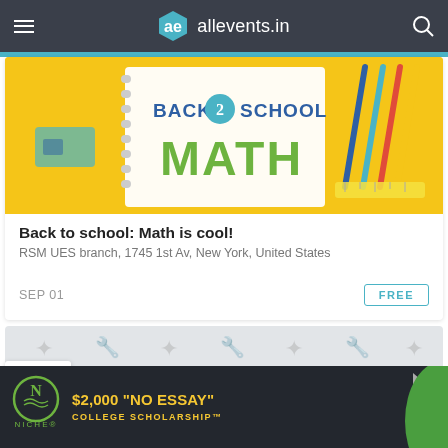allevents.in
[Figure (photo): Back to School: Math is cool! event banner with yellow background, pencils, eraser, and notebook with 'BACK 2 SCHOOL MATH' text in green and blue.]
Back to school: Math is cool!
RSM UES branch, 1745 1st Av, New York, United States
SEP 01
FREE
[Figure (illustration): Gray patterned placeholder card with tool and icon watermarks.]
[Figure (advertisement): Niche college scholarship ad: $2,000 'NO ESSAY' COLLEGE SCHOLARSHIP™ on dark background with yellow text and green blob.]